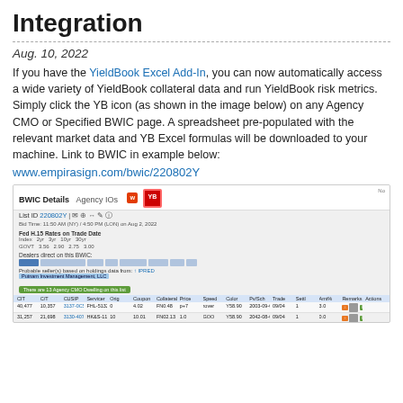Integration
Aug. 10, 2022
If you have the YieldBook Excel Add-In, you can now automatically access a wide variety of YieldBook collateral data and run YieldBook risk metrics. Simply click the YB icon (as shown in the image below) on any Agency CMO or Specified BWIC page. A spreadsheet pre-populated with the relevant market data and YB Excel formulas will be downloaded to your machine. Link to BWIC in example below:
www.empirasign.com/bwic/220802Y
[Figure (screenshot): Screenshot of BWIC Details page for Agency IOs showing the YieldBook Excel Add-In icon highlighted in red, with list ID 220802Y, dealer bars, probable seller information, and a table of Agency CMO holdings with columns for CIT, C/T, CUSIP, Servicer, Orig, Coupon, Collateral, Price, Speed, Color, Pv/Sch, Trade, Settl, Amt%, Remarks, Actions.]